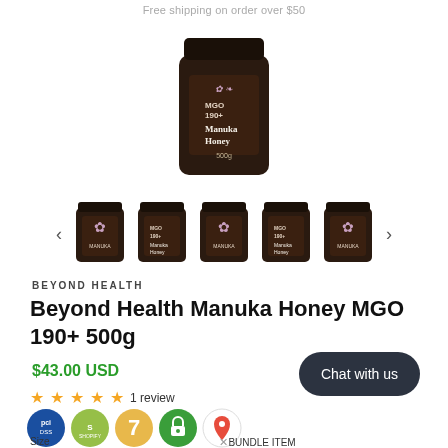Free shipping on order over $50
[Figure (photo): Dark brown jar of Beyond Health Manuka Honey MGO 190+, main product image]
[Figure (photo): Thumbnail carousel with 5 small images of Manuka Honey jars, with left and right navigation arrows]
BEYOND HEALTH
Beyond Health Manuka Honey MGO 190+ 500g
$43.00 USD
Chat with us
1 review
[Figure (infographic): Trust badge icons: PCI, Shopify, 7, secure lock, Google Maps pin]
Size  BUNDLE ITEM